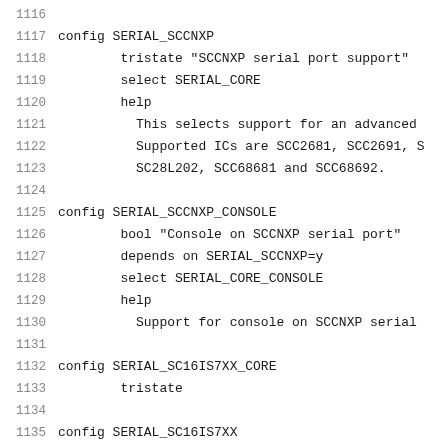1116 (partial line, truncated at top)
1117   config SERIAL_SCCNXP
1118           tristate "SCCNXP serial port support"
1119           select SERIAL_CORE
1120           help
1121             This selects support for an advanced
1122             Supported ICs are SCC2681, SCC2691, S
1123             SC28L202, SCC68681 and SCC68692.
1124
1125   config SERIAL_SCCNXP_CONSOLE
1126           bool "Console on SCCNXP serial port"
1127           depends on SERIAL_SCCNXP=y
1128           select SERIAL_CORE_CONSOLE
1129           help
1130             Support for console on SCCNXP serial
1131
1132   config SERIAL_SC16IS7XX_CORE
1133           tristate
1134
1135   config SERIAL_SC16IS7XX
1136           tristate "SC16IS7xx serial support"
1137           select SERIAL_CORE